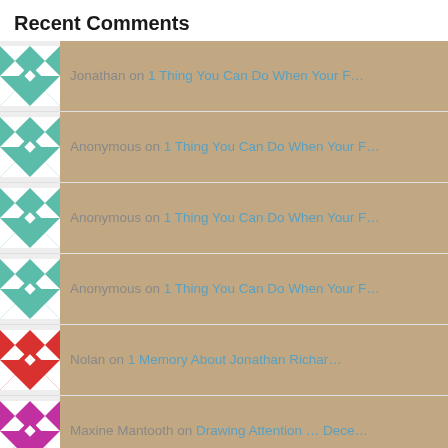Recent Comments
Jonathan on 1 Thing You Can Do When Your F…
Anonymous on 1 Thing You Can Do When Your F…
Anonymous on 1 Thing You Can Do When Your F…
Anonymous on 1 Thing You Can Do When Your F…
Nolan on 1 Memory About Jonathan Richar…
Maxine Mantooth on Drawing Attention … Dece…
Steve on From the Stacks … Octobe…
Maxine Mantooth on … October 29th